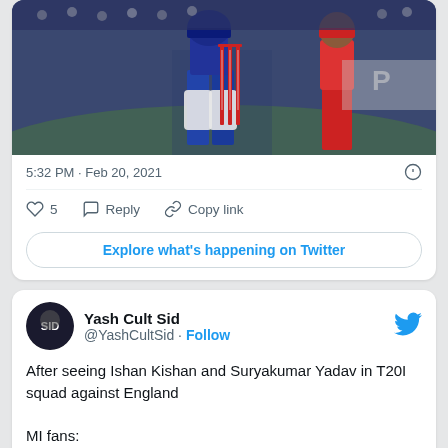[Figure (photo): Cricket players at the wicket during an IPL match, stumps visible with Dream11 branding, one player in blue kit and one in red kit]
5:32 PM · Feb 20, 2021
5  Reply  Copy link
Explore what's happening on Twitter
Yash Cult Sid
@YashCultSid · Follow
After seeing Ishan Kishan and Suryakumar Yadav in T20I squad against England

MI fans:
[Figure (screenshot): Video thumbnail showing a person, with 'Watch on Twitter' label]